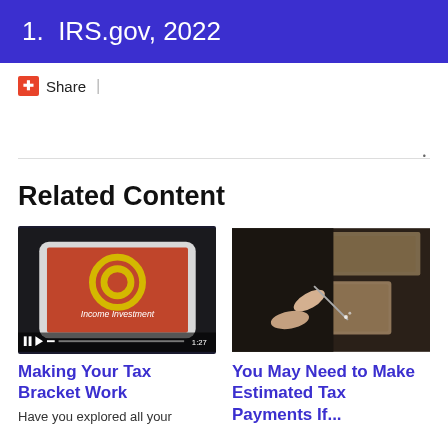1.  IRS.gov, 2022
Share |
Related Content
[Figure (photo): Video thumbnail of a tablet displaying 'Income Investment' with orange background and circular logo design, with video controls showing 1:27 duration]
Making Your Tax Bracket Work
Have you explored all your
[Figure (photo): Photo of hands working with metalworking tools on metal pieces on a dark surface]
You May Need to Make Estimated Tax Payments If...